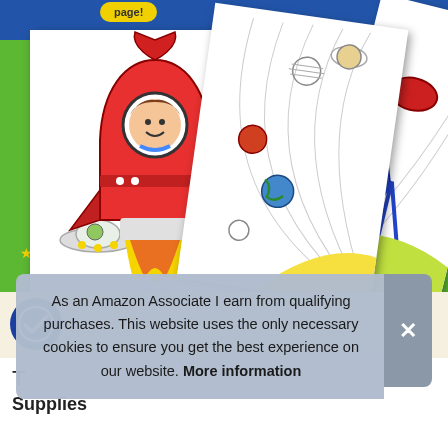[Figure (photo): Product image of a children's coloring book with space theme. Shows coloring pages with a red rocket ship with a boy astronaut, a UFO with alien, solar system planets, and a telescope. Blue and green background with Crayola branding.]
As an Amazon Associate I earn from qualifying purchases. This website uses the only necessary cookies to ensure you get the best experience on our website. More information
T
Supplies